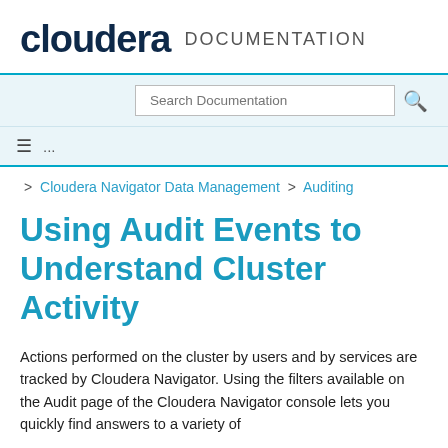cloudera DOCUMENTATION
Search Documentation
≡ ...
> Cloudera Navigator Data Management > Auditing
Using Audit Events to Understand Cluster Activity
Actions performed on the cluster by users and by services are tracked by Cloudera Navigator. Using the filters available on the Audit page of the Cloudera Navigator console lets you quickly find answers to a variety of